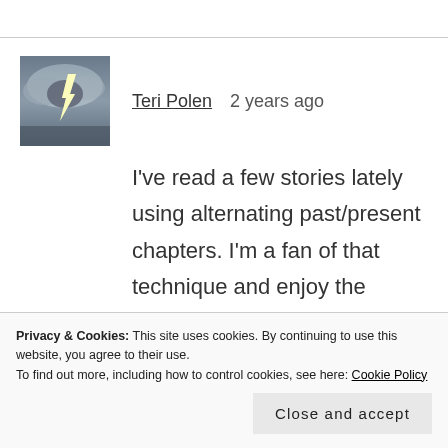[Figure (photo): Avatar thumbnail of a stormy sky with lightning bolt]
Teri Polen   2 years ago
I've read a few stories lately using alternating past/present chapters. I'm a fan of that technique and enjoy the gradual reveal of the story. Too bad about the ending – from the
Privacy & Cookies: This site uses cookies. By continuing to use this website, you agree to their use.
To find out more, including how to control cookies, see here: Cookie Policy
Close and accept